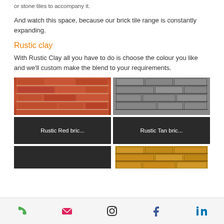or stone tiles to accompany it.
And watch this space, because our brick tile range is constantly expanding.
Rustic clay
With Rustic Clay all you have to do is choose the colour you like and we'll custom make the blend to your requirements.
[Figure (photo): Two side-by-side photos: left shows red/terracotta rustic clay brick tiles, right shows grey rustic clay brick tiles]
Rustic Red bric...
Rustic Tan bric...
[Figure (photo): Bottom row: left is dark panel, right shows tan/orange rustic brick tiles]
Phone | Email | Instagram | Facebook | LinkedIn